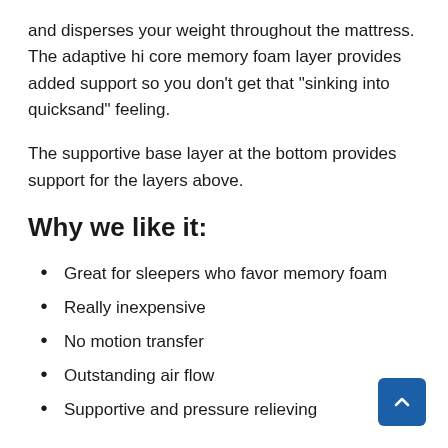and disperses your weight throughout the mattress. The adaptive hi core memory foam layer provides added support so you don’t get that “sinking into quicksand” feeling.
The supportive base layer at the bottom provides support for the layers above.
Why we like it:
Great for sleepers who favor memory foam
Really inexpensive
No motion transfer
Outstanding air flow
Supportive and pressure relieving